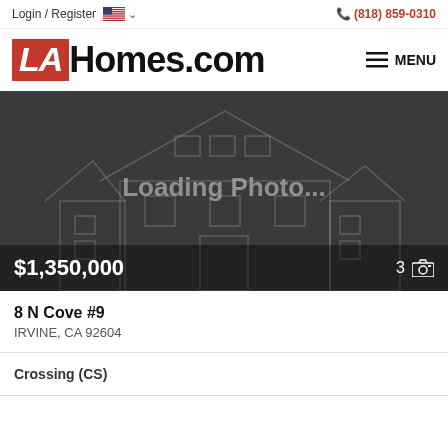Login / Register  (818) 859-0310
LAHomes.com
[Figure (screenshot): Property listing image placeholder showing a house outline on dark background with text 'Loading Photo...' and price $1,350,000 with photo count 3]
8 N Cove #9
IRVINE, CA 92604
Crossing (CS)